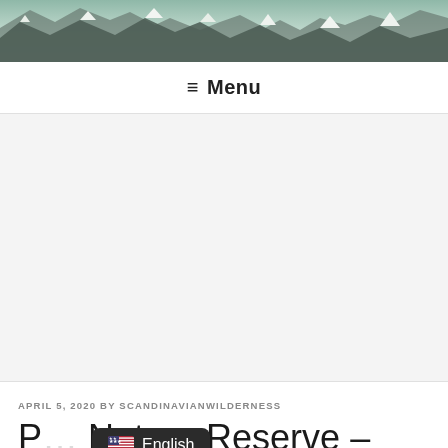[Figure (photo): Mountain landscape header photo with snow-capped peaks and dramatic sky with aurora tones]
≡ Menu
[Figure (photo): Large advertisement or empty content area with light gray background]
APRIL 5, 2020 BY SCANDINAVIANWILDERNESS
P… Nature Reserve –
[Figure (screenshot): Language selector popup overlay showing US flag and 'English' text on dark background]